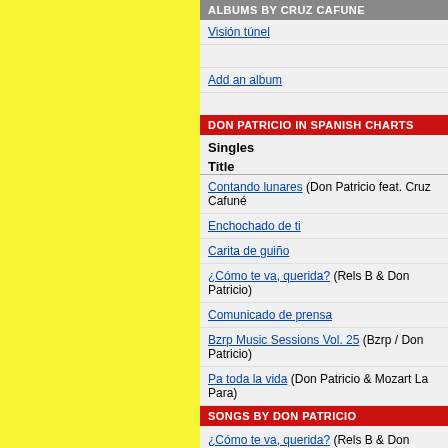ALBUMS BY CRUZ CAFUNE
Visión túnel
Add an album
DON PATRICIO IN SPANISH CHARTS
Singles
Title
Contando lunares (Don Patricio feat. Cruz Cafuné)
Enchochado de ti
Carita de guiño
¿Cómo te va, querida? (Rels B & Don Patricio)
Comunicado de prensa
Bzrp Music Sessions Vol. 25 (Bzrp / Don Patricio)
Pa toda la vida (Don Patricio & Mozart La Para)
SONGS BY DON PATRICIO
¿Cómo te va, querida? (Rels B & Don Patricio)
Bzrp Music Sessions Vol. 25 (Bzrp / Don Patricio)
Carita de guiño
Comunicado de prensa
Order by year
Add a song
Add an album
REVIEWS